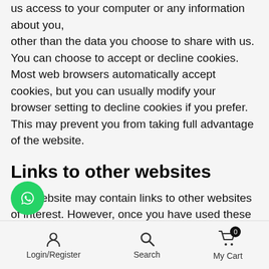us access to your computer or any information about you, other than the data you choose to share with us. You can choose to accept or decline cookies. Most web browsers automatically accept cookies, but you can usually modify your browser setting to decline cookies if you prefer. This may prevent you from taking full advantage of the website.
Links to other websites
Our website may contain links to other websites of interest. However, once you have used these links to leave our site, you should note that we do not have control over that other website.
[Figure (other): WhatsApp floating button icon]
Login/Register   Search   My Cart 0